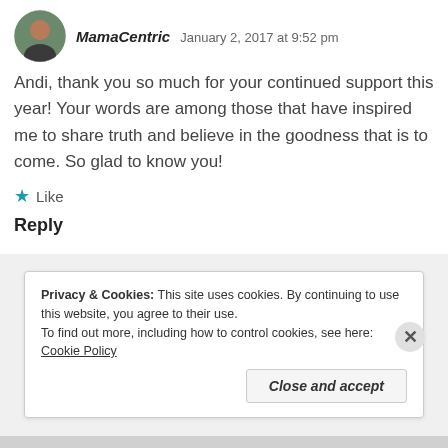[Figure (photo): Small circular avatar photo of a woman with dark hair wearing a jacket]
MamaCentric  January 2, 2017 at 9:52 pm
Andi, thank you so much for your continued support this year! Your words are among those that have inspired me to share truth and believe in the goodness that is to come. So glad to know you!
★ Like
Reply
Privacy & Cookies: This site uses cookies. By continuing to use this website, you agree to their use.
To find out more, including how to control cookies, see here: Cookie Policy
Close and accept